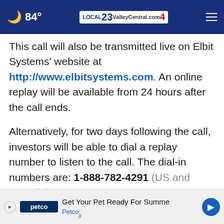🌙 84° | ValleyCentral.com 23/4
This call will also be transmitted live on Elbit Systems' website at http://www.elbitsystems.com. An online replay will be available from 24 hours after the call ends.

Alternatively, for two days following the call, investors will be able to dial a replay number to listen to the call. The dial-in numbers are: 1-888-782-4291 (US and Canada) or +972-3-925-5900
[Figure (screenshot): Petco advertisement banner: Get Your Pet Ready For Summer - Petco, with blue arrow icon]